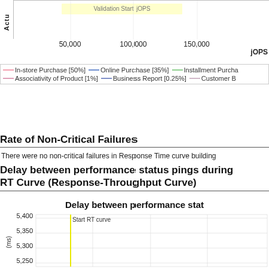[Figure (continuous-plot): Top partial chart area showing x-axis ticks (50,000 / 100,000 / 150,000) and jOPS label, with y-axis label 'Actu' visible. Part of a performance benchmark chart.]
[Figure (other): Legend box showing colored lines: In-store Purchase [50%] (pink), Online Purchase [35%] (blue), Installment Purchase (green), Associativity of Product [1%] (pink), Business Report [0.25%] (blue), Customer B (partial)]
Rate of Non-Critical Failures
There were no non-critical failures in Response Time curve building
Delay between performance status pings during RT Curve (Response-Throughput Curve)
[Figure (continuous-plot): Partial line chart titled 'Delay between performance stat...' showing y-axis values 5,400 / 5,350 / 5,300 / 5,250 (ms), with a vertical yellow line labeled 'Start RT curve'. Chart is cut off at bottom.]